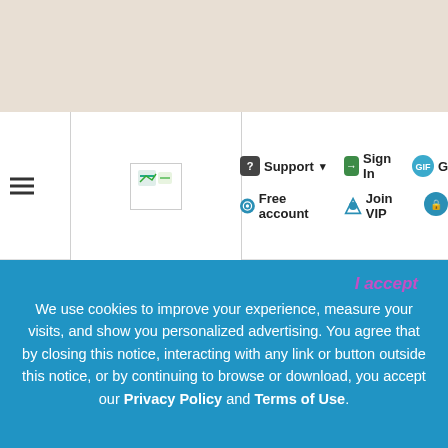[Figure (screenshot): Website navigation bar with hamburger menu, logo, Support dropdown, Sign In, Gift icon, Free account, Join VIP, and cart icon buttons on white background above a beige header area]
CREATED BY NynaeveDesign   Submitter
35,425 DOWNLOADS   19 COMMENTS
See more and download
We use cookies to improve your experience, measure your visits, and show you personalized advertising. You agree that by closing this notice, interacting with any link or button outside this notice, or by continuing to browse or download, you accept our Privacy Policy and Terms of Use.
I accept